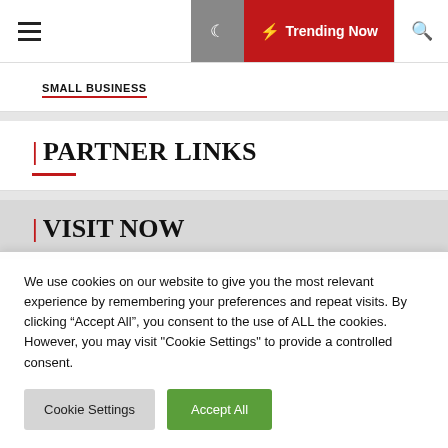Trending Now
SMALL BUSINESS
| PARTNER LINKS
| VISIT NOW
We use cookies on our website to give you the most relevant experience by remembering your preferences and repeat visits. By clicking “Accept All”, you consent to the use of ALL the cookies. However, you may visit "Cookie Settings" to provide a controlled consent.